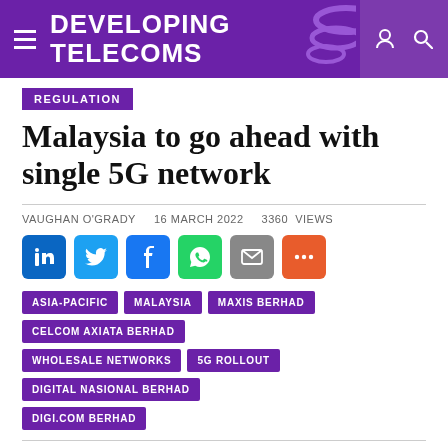DEVELOPING TELECOMS
REGULATION
Malaysia to go ahead with single 5G network
VAUGHAN O'GRADY   16 MARCH 2022   3360 views
[Figure (infographic): Social sharing buttons: LinkedIn, Twitter, Facebook, WhatsApp, Email, More]
ASIA-PACIFIC
MALAYSIA
MAXIS BERHAD
CELCOM AXIATA BERHAD
WHOLESALE NETWORKS
5G ROLLOUT
DIGITAL NASIONAL BERHAD
DIGI.COM BERHAD
[Figure (photo): Night cityscape of Kuala Lumpur showing the Petronas Twin Towers and KL Tower illuminated against a dark sky]